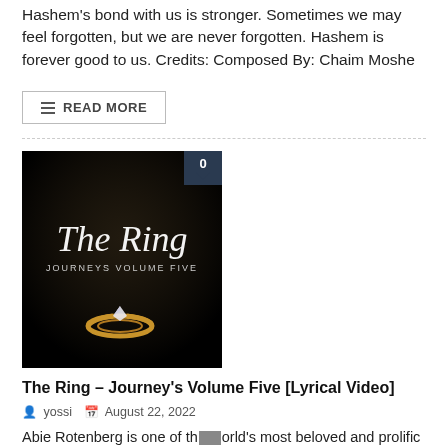Hashem's bond with us is stronger. Sometimes we may feel forgotten, but we are never forgotten. Hashem is forever good to us. Credits: Composed By: Chaim Moshe
READ MORE
[Figure (photo): Dark background image showing 'The Ring – Journeys Volume Five' with a gold ring with diamond in the foreground and italic script title text]
The Ring – Journey's Volume Five [Lyrical Video]
yossi   August 22, 2022
Abie Rotenberg is one of the world's most beloved and prolific